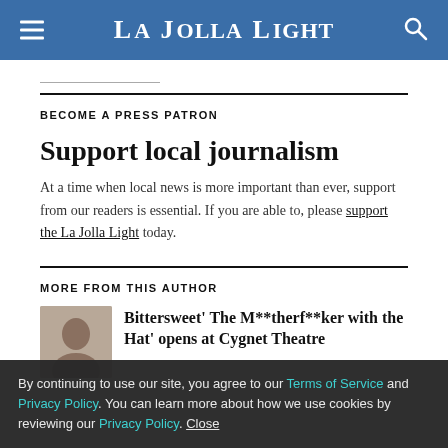La Jolla Light
BECOME A PRESS PATRON
Support local journalism
At a time when local news is more important than ever, support from our readers is essential. If you are able to, please support the La Jolla Light today.
MORE FROM THIS AUTHOR
Bittersweet' The M**therf**ker with the Hat' opens at Cygnet Theatre
By continuing to use our site, you agree to our Terms of Service and Privacy Policy. You can learn more about how we use cookies by reviewing our Privacy Policy. Close